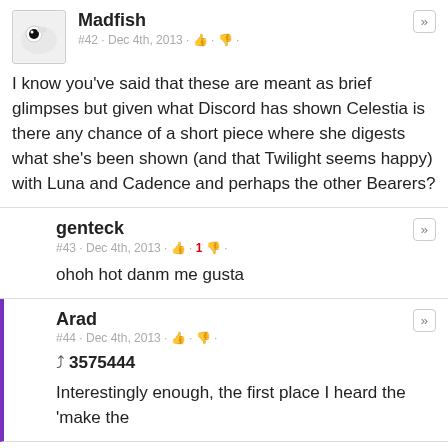Madfish
#42 · Dec 4th, 2013 · 👍 · 👎 ·
I know you've said that these are meant as brief glimpses but given what Discord has shown Celestia is there any chance of a short piece where she digests what she's been shown (and that Twilight seems happy) with Luna and Cadence and perhaps the other Bearers?
genteck
#43 · Dec 4th, 2013 · 👍 · 1 👎 ·
ohoh hot danm me gusta
Arad
#44 · Dec 4th, 2013 · 👍 · 👎 ·
↩ 3575444
Interestingly enough, the first place I heard the 'make the